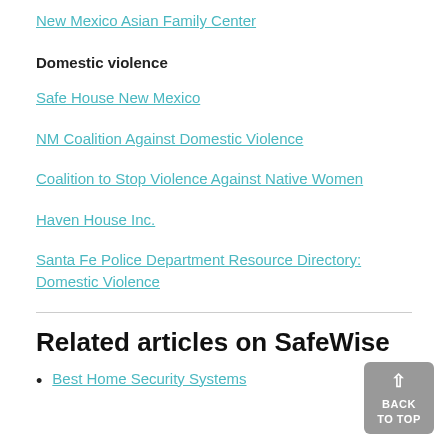New Mexico Asian Family Center
Domestic violence
Safe House New Mexico
NM Coalition Against Domestic Violence
Coalition to Stop Violence Against Native Women
Haven House Inc.
Santa Fe Police Department Resource Directory: Domestic Violence
Related articles on SafeWise
Best Home Security Systems